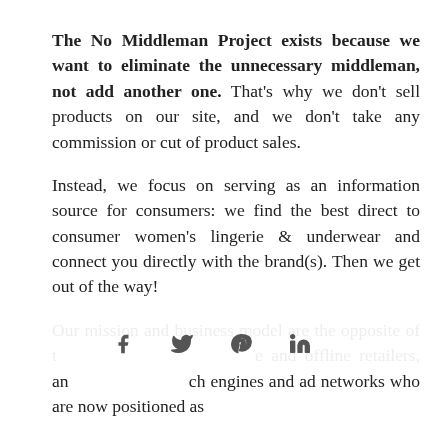The No Middleman Project exists because we want to eliminate the unnecessary middleman, not add another one. That's why we don't sell products on our site, and we don't take any commission or cut of product sales.
Instead, we focus on serving as an information source for consumers: we find the best direct to consumer women's lingerie & underwear and connect you directly with the brand(s). Then we get out of the way!
Our mission and business model are the opposite of t⁠⁠⁠⁠⁠⁠⁠⁠⁠⁠⁠⁠⁠⁠⁠⁠⁠e and offline retailers, an⁠⁠⁠⁠⁠⁠⁠⁠⁠⁠⁠⁠⁠⁠⁠⁠ch engines and ad networks who are now positioned as